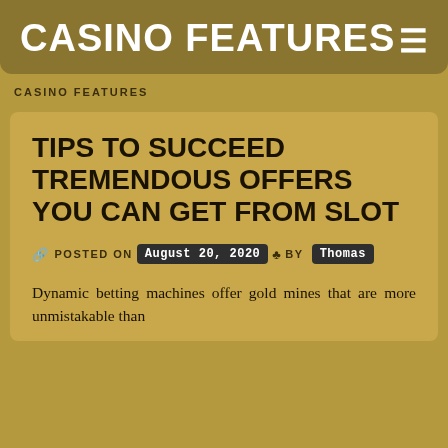CASINO FEATURES
CASINO FEATURES
TIPS TO SUCCEED TREMENDOUS OFFERS YOU CAN GET FROM SLOT
POSTED ON August 20, 2020 BY Thomas
Dynamic betting machines offer gold mines that are more unmistakable than